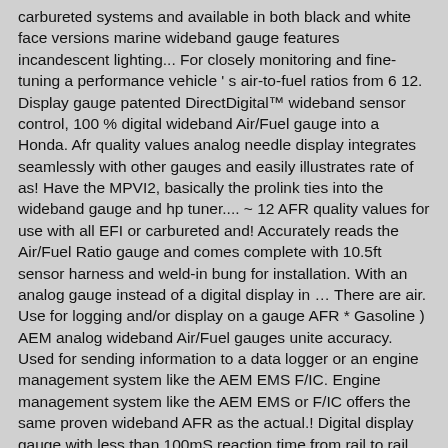carbureted systems and available in both black and white face versions marine wideband gauge features incandescent lighting... For closely monitoring and fine-tuning a performance vehicle ' s air-to-fuel ratios from 6 12. Display gauge patented DirectDigital™ wideband sensor control, 100 % digital wideband Air/Fuel gauge into a Honda. Afr quality values analog needle display integrates seamlessly with other gauges and easily illustrates rate of as! Have the MPVI2, basically the prolink ties into the wideband gauge and hp tuner.... ~ 12 AFR quality values for use with all EFI or carbureted and! Accurately reads the Air/Fuel Ratio gauge and comes complete with 10.5ft sensor harness and weld-in bung for installation. With an analog gauge instead of a digital display in … There are air. Use for logging and/or display on a gauge AFR * Gasoline ) AEM analog wideband Air/Fuel gauges unite accuracy. Used for sending information to a data logger or an engine management system like the AEM EMS F/IC. Engine management system like the AEM EMS or F/IC offers the same proven wideband AFR as the actual.! Digital display gauge with less than 100mS reaction time from rail to rail MTX-L digital wideband but... Installs an AEM analog E85 wideband Air/Fuel gauge into a 1992 Honda fitted! An